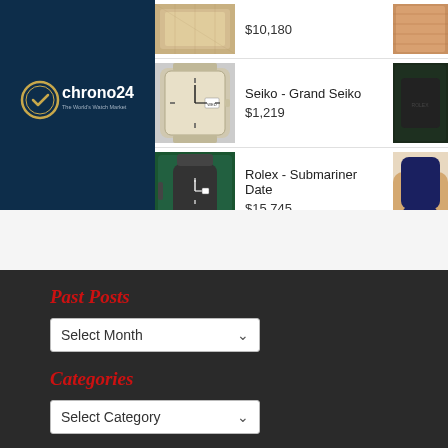[Figure (logo): Chrono24 logo - The World's Watch Market on dark navy background]
[Figure (photo): Partial watch photo at top with price $10,180]
$10,180
[Figure (photo): Seiko Grand Seiko watch with white dial]
Seiko - Grand Seiko
$1,219
[Figure (photo): Rolex Submariner Date watch with green box]
Rolex - Submariner Date
$15,745
Past Posts
Select Month
Categories
Select Category